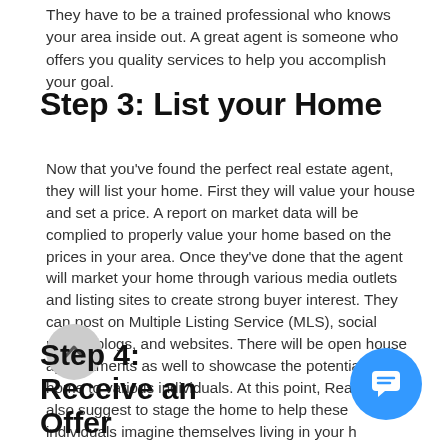They have to be a trained professional who knows your area inside out. A great agent is someone who offers you quality services to help you accomplish your goal.
Step 3: List your Home
Now that you've found the perfect real estate agent, they will list your home. First they will value your house and set a price. A report on market data will be complied to properly value your home based on the prices in your area. Once they've done that the agent will market your home through various media outlets and listing sites to create strong buyer interest. They can post on Multiple Listing Service (MLS), social media, blogs, and websites. There will be open house appointments as well to showcase the potential of your home to various individuals. At this point, Realtors may also suggest to stage the home to help these individuals imagine themselves living in your h
Step 4: Receive an Offer